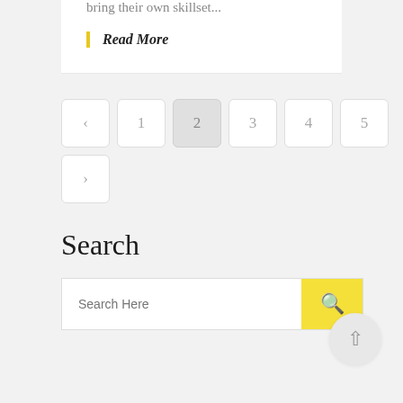bring their own skillset...
Read More
< 1 2 3 4 5 >
Search
Search Here